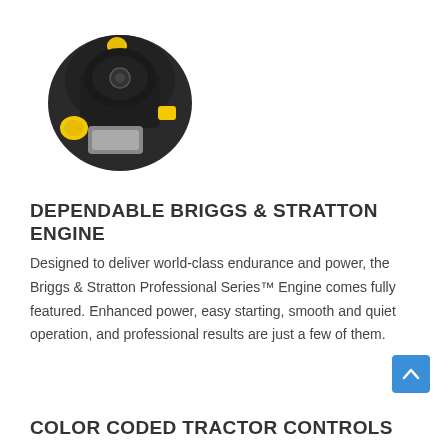[Figure (photo): Black Briggs & Stratton engine with yellow accents, top-down angled view]
DEPENDABLE BRIGGS & STRATTON ENGINE
Designed to deliver world-class endurance and power, the Briggs & Stratton Professional Series™ Engine comes fully featured. Enhanced power, easy starting, smooth and quiet operation, and professional results are just a few of them.
[Figure (illustration): Blue scroll-to-top button with upward chevron arrow]
COLOR CODED TRACTOR CONTROLS